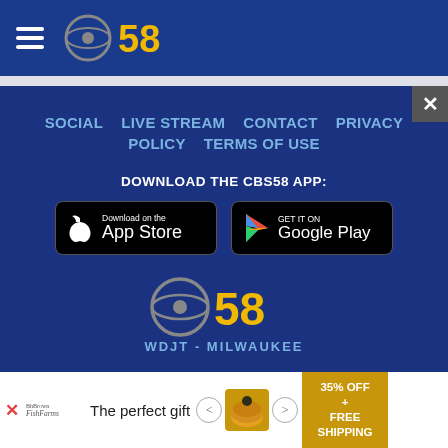CBS 58 — WDJT Milwaukee
SOCIAL   LIVE STREAM   CONTACT   PRIVACY POLICY   TERMS OF USE
DOWNLOAD THE CBS58 APP:
[Figure (logo): Download on the App Store button]
[Figure (logo): Get it on Google Play button]
[Figure (logo): CBS 58 logo — circle CBS eye with 58 in yellow, WDJT - MILWAUKEE below]
[Figure (infographic): Advertisement banner: The perfect gift with food bowl image and 35% OFF + FREE SHIPPING promo]